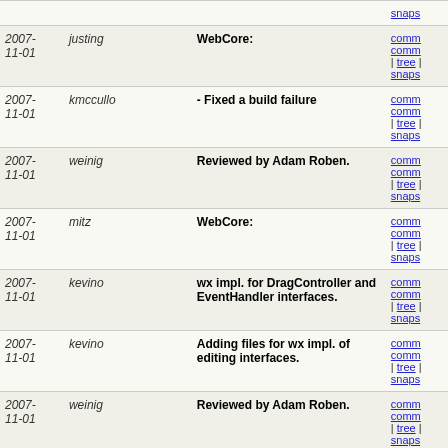| Date | Author | Message | Links |
| --- | --- | --- | --- |
| 2007-11-01 | justing | WebCore: | comm comm | tree | snaps |
| 2007-11-01 | kmccullo | - Fixed a build failure | comm comm | tree | snaps |
| 2007-11-01 | weinig | Reviewed by Adam Roben. | comm comm | tree | snaps |
| 2007-11-01 | mitz | WebCore: | comm comm | tree | snaps |
| 2007-11-01 | kevino | wx impl. for DragController and EventHandler interfaces. | comm comm | tree | snaps |
| 2007-11-01 | kevino | Adding files for wx impl. of editing interfaces. | comm comm | tree | snaps |
| 2007-11-01 | weinig | Reviewed by Adam Roben. | comm comm | tree | snaps |
| 2007-11-01 | beidson@apple.com | Reviewed by Anders | comm comm | tree | snaps |
| 2007-11-01 | aroben | Remove all duplicate xcopy commands from WebCor... | comm comm | tree | snaps |
| 2007-11-01 | aroben | Make changes in WebKit/win show up under "WebKi..." | comm comm | tree | snaps |